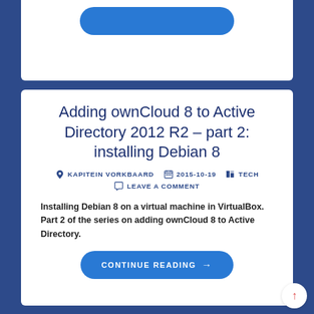Adding ownCloud 8 to Active Directory 2012 R2 – part 2: installing Debian 8
KAPITEIN VORKBAARD   2015-10-19   TECH
LEAVE A COMMENT
Installing Debian 8 on a virtual machine in VirtualBox. Part 2 of the series on adding ownCloud 8 to Active Directory.
CONTINUE READING →